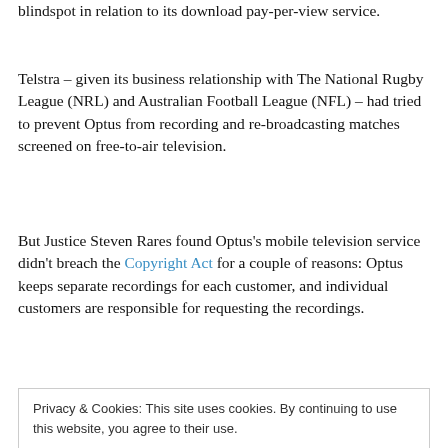blindspot in relation to its download pay-per-view service.
Telstra – given its business relationship with The National Rugby League (NRL) and Australian Football League (NFL) – had tried to prevent Optus from recording and re-broadcasting matches screened on free-to-air television.
But Justice Steven Rares found Optus's mobile television service didn't breach the Copyright Act for a couple of reasons: Optus keeps separate recordings for each customer, and individual customers are responsible for requesting the recordings.
Privacy & Cookies: This site uses cookies. By continuing to use this website, you agree to their use.
To find out more, including how to control cookies, see here: Cookie Policy
he wrote the following for the Sydney Morning Herald